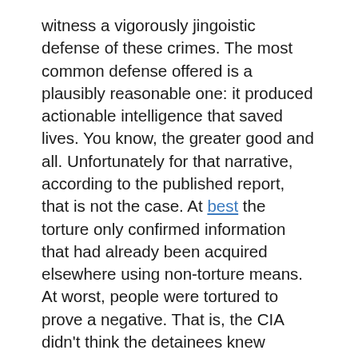witness a vigorously jingoistic defense of these crimes. The most common defense offered is a plausibly reasonable one: it produced actionable intelligence that saved lives. You know, the greater good and all. Unfortunately for that narrative, according to the published report, that is not the case. At best the torture only confirmed information that had already been acquired elsewhere using non-torture means.  At worst, people were tortured to prove a negative. That is, the CIA didn't think the detainees knew anything of value, but they tortured them anyway just to make sure. Let me repeat that so the enormity of that evil sinks in. They tortured people they thought were innocent and of no intelligence value.
The more reprehensible torture defense is the "I just don't care" defense. This is most succinctly portrayed in a burgeoning Internet meme depicting a person falling from the World Trade Center with the text overlaid "This is why I don't give a damn how we gathered information from terrorists." Yes, 9/11 was an awful, horrific, tragic event, but it is a